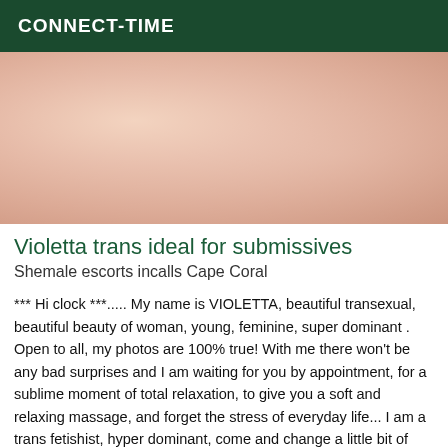CONNECT-TIME
[Figure (photo): Close-up skin photo used as listing image]
Violetta trans ideal for submissives
Shemale escorts incalls Cape Coral
*** Hi clock ***..... My name is VIOLETTA, beautiful transexual, beautiful beauty of woman, young, feminine, super dominant . Open to all, my photos are 100% true! With me there won't be any bad surprises and I am waiting for you by appointment, for a sublime moment of total relaxation, to give you a soft and relaxing massage, and forget the stress of everyday life... I am a trans fetishist, hyper dominant, come and change a little bit of your habits with me. I am here exclusively and only for